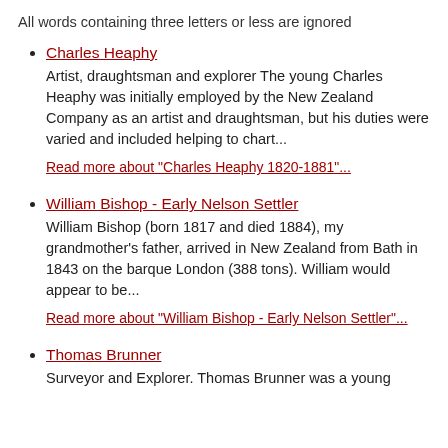All words containing three letters or less are ignored
Charles Heaphy
Artist, draughtsman and explorer The young Charles Heaphy was initially employed by the New Zealand Company as an artist and draughtsman, but his duties were varied and included helping to chart...
Read more about "Charles Heaphy 1820-1881"...
William Bishop - Early Nelson Settler
William Bishop (born 1817 and died 1884), my grandmother's father, arrived in New Zealand from Bath in 1843 on the barque London (388 tons). William would appear to be...
Read more about "William Bishop - Early Nelson Settler"...
Thomas Brunner
Surveyor and Explorer. Thomas Brunner was a young